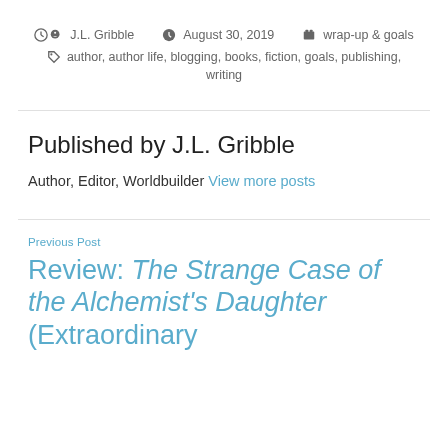J.L. Gribble   August 30, 2019   wrap-up & goals
author, author life, blogging, books, fiction, goals, publishing, writing
Published by J.L. Gribble
Author, Editor, Worldbuilder View more posts
Previous Post
Review: The Strange Case of the Alchemist's Daughter (Extraordinary